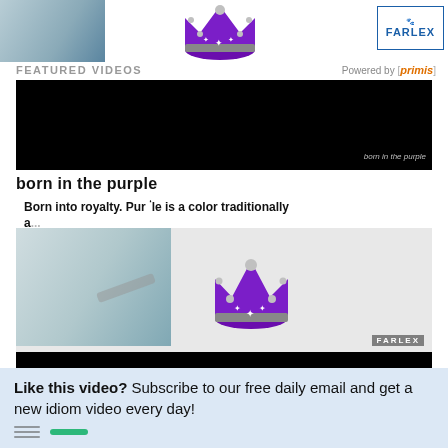[Figure (screenshot): Top portion of a video player showing a hand drawing on white background with a purple crown graphic and Farlex logo in top right corner]
FEATURED VIDEOS   Powered by [primis]
[Figure (screenshot): Video player showing black screen with caption 'born in the purple' at bottom right]
born in the purple
Born into royalty. Purple is a color traditionally a...
[Figure (screenshot): Mini video player showing hand drawing animation with purple crown and Farlex watermark, with black control bar at bottom]
born in the purple
Born into royalty. Purple is a color traditionally associated with royalty.  Read More
Advertisement. Bad banner? Please let us know Remove Ads
Like this video? Subscribe to our free daily email and get a new idiom video every day!